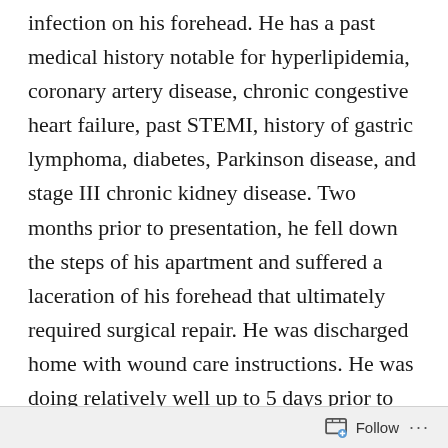infection on his forehead. He has a past medical history notable for hyperlipidemia, coronary artery disease, chronic congestive heart failure, past STEMI, history of gastric lymphoma, diabetes, Parkinson disease, and stage III chronic kidney disease. Two months prior to presentation, he fell down the steps of his apartment and suffered a laceration of his forehead that ultimately required surgical repair. He was discharged home with wound care instructions. He was doing relatively well up to 5 days prior to presentation when he started to develop a small, soft, erythematous lesion on his forehead with swelling and non-purulent appearing serous drainage at the site
Follow ···